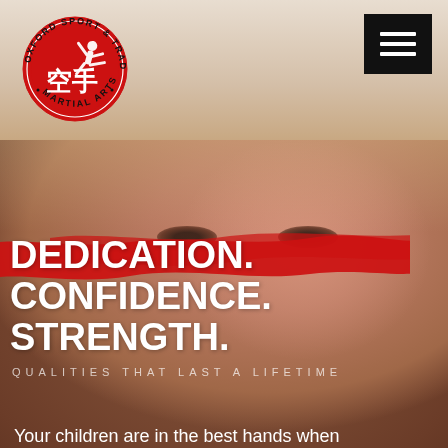[Figure (logo): Oxford Sport & Traditional Martial Arts circular logo with red background and white karate figures and Chinese characters]
[Figure (photo): Close-up photo of a young child's face with blonde hair, looking intensely at the camera, warm toned background. A red brush stroke overlays the image. Text overlays read DEDICATION. CONFIDENCE. STRENGTH. and QUALITIES THAT LAST A LIFETIME]
DEDICATION.
CONFIDENCE.
STRENGTH.
QUALITIES THAT LAST A LIFETIME
Your children are in the best hands when